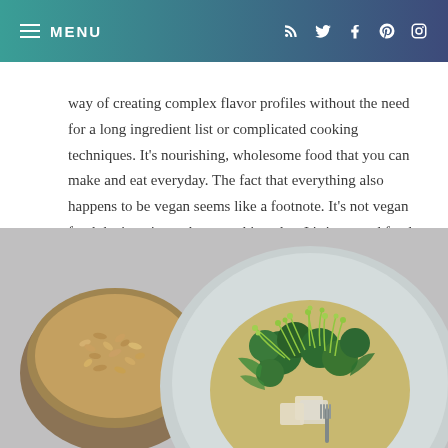≡ MENU
way of creating complex flavor profiles without the need for a long ingredient list or complicated cooking techniques. It's nourishing, wholesome food that you can make and eat everyday. The fact that everything also happens to be vegan seems like a footnote. It's not vegan food that's trying to be something else. It's just good food being good. And frankly, I can't think of anything better than that.
[Figure (photo): A plate with broccoli, tofu cubes, microgreens/sprouts on top, with a wooden bowl of seeds/nuts to the left, on a light gray background.]